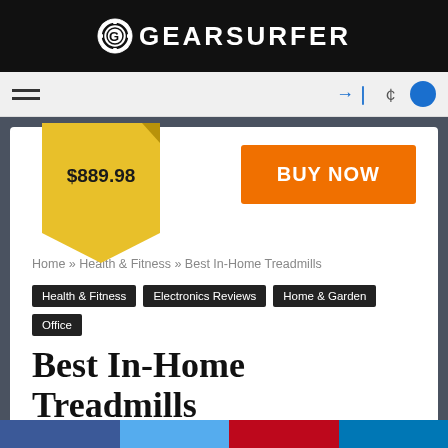GEARSURFER
[Figure (logo): GearSurfer logo with gear icon and white text on black background]
Home » Health & Fitness » Best In-Home Treadmills
Health & Fitness
Electronics Reviews
Home & Garden
Office
Best In-Home Treadmills
March 27, 2020   590   0